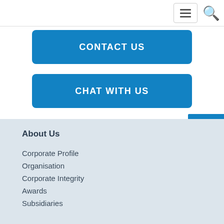[Figure (screenshot): Navigation bar with hamburger menu icon and search icon in top right corner]
CONTACT US
CHAT WITH US
About Us
Corporate Profile
Organisation
Corporate Integrity
Awards
Subsidiaries